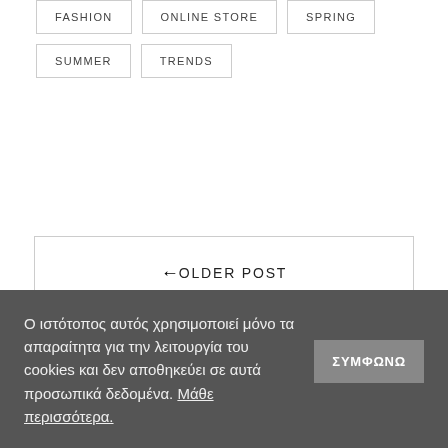FASHION
ONLINE STORE
SPRING
SUMMER
TRENDS
← OLDER POST
Ο ιστότοπος αυτός χρησιμοποιεί μόνο τα απαραίτητα για την λειτουργία του cookies και δεν αποθηκεύει σε αυτά προσωπικά δεδομένα. Μάθε περισσότερα.
ΣΥΜΦΩΝΩ